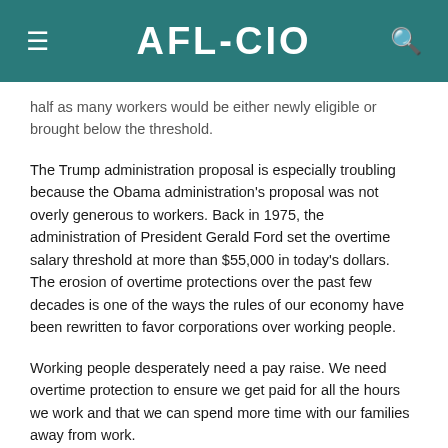AFL-CIO
half as many workers would be either newly eligible or brought below the threshold.
The Trump administration proposal is especially troubling because the Obama administration's proposal was not overly generous to workers. Back in 1975, the administration of President Gerald Ford set the overtime salary threshold at more than $55,000 in today's dollars. The erosion of overtime protections over the past few decades is one of the ways the rules of our economy have been rewritten to favor corporations over working people.
Working people desperately need a pay raise. We need overtime protection to ensure we get paid for all the hours we work and that we can spend more time with our families away from work.
As we have before, the AFL-CIO will again urge the